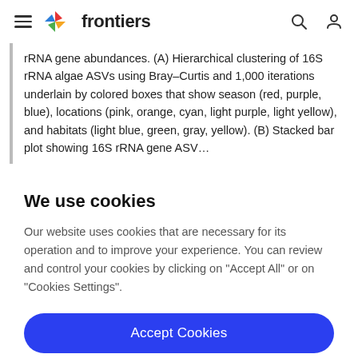frontiers
rRNA gene abundances. (A) Hierarchical clustering of 16S rRNA algae ASVs using Bray–Curtis and 1,000 iterations underlain by colored boxes that show season (red, purple, blue), locations (pink, orange, cyan, light purple, light yellow), and habitats (light blue, green, gray, yellow). (B) Stacked bar plot showing 16S rRNA gene ASV…
We use cookies
Our website uses cookies that are necessary for its operation and to improve your experience. You can review and control your cookies by clicking on "Accept All" or on "Cookies Settings".
Accept Cookies
Cookies Settings